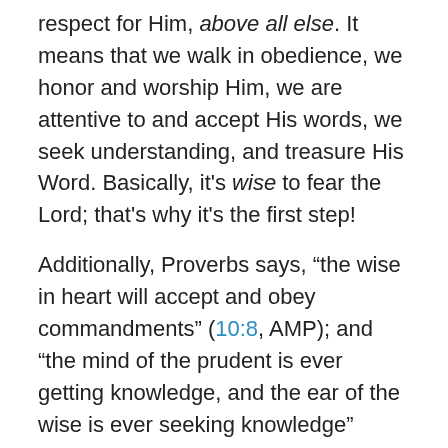respect for Him, above all else. It means that we walk in obedience, we honor and worship Him, we are attentive to and accept His words, we seek understanding, and treasure His Word. Basically, it's wise to fear the Lord; that's why it's the first step!
Additionally, Proverbs says, “the wise in heart will accept and obey commandments” (10:8, AMP); and “the mind of the prudent is ever getting knowledge, and the ear of the wise is ever seeking knowledge” (18:15, AMP). Like David said, the law of the Lord is perfect and sweet to those who love Him (Psalm 19:7-11). Therefore, because we love and respect Him we study His Word!
Spending time in the Word of God is how we’re going to learn more about the character of God and, in turn, the Wisdom of God. We can’t expect to gain the Wisdom of